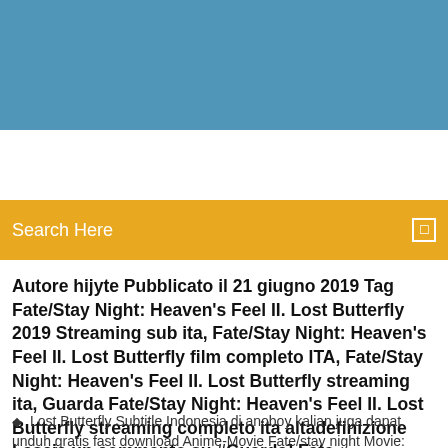[Figure (other): Blue and golden/yellow gradient header banner at top of webpage]
Search Here
Autore hijyte Pubblicato il 21 giugno 2019 Tag Fate/Stay Night: Heaven's Feel II. Lost Butterfly 2019 Streaming sub ita, Fate/Stay Night: Heaven's Feel II. Lost Butterfly film completo ITA, Fate/Stay Night: Heaven's Feel II. Lost Butterfly streaming ita, Guarda Fate/Stay Night: Heaven's Feel II. Lost Butterfly streaming completo ita altadefinizione Lascia un commento su #Guarda] Fate
Lost Butterfly Subtitle Indonesia di anoboy kalian juga dapat unduh gratis fast download Anime-Movie Fate/stay night Movie: